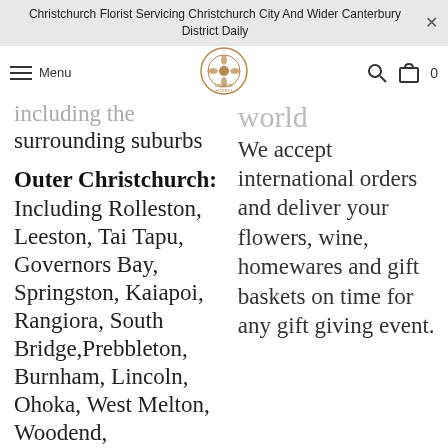Christchurch Florist Servicing Christchurch City And Wider Canterbury District Daily
including the surrounding suburbs
Outer Christchurch:
Including Rolleston, Leeston, Tai Tapu, Governors Bay, Springston, Kaiapoi, Rangiora, South Bridge, Prebbleton, Burnham, Lincoln, Ohoka, West Melton, Woodend, Spencerville, Templeton, Pegasus T...
world
We accept international orders and deliver your flowers, wine, homewares and gift baskets on time for any gift giving event.